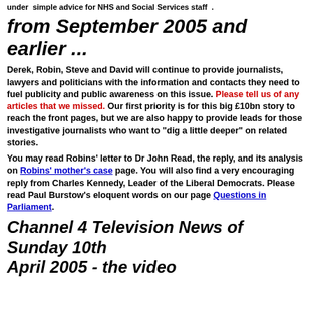under  simple advice for NHS and Social Services staff .
from September 2005 and earlier ...
Derek, Robin, Steve and David will continue to provide journalists, lawyers and politicians with the information and contacts they need to fuel publicity and public awareness on this issue. Please tell us of any articles that we missed. Our first priority is for this big £10bn story to reach the front pages, but we are also happy to provide leads for those investigative journalists who want to "dig a little deeper" on related stories.
You may read Robins' letter to Dr John Read, the reply, and its analysis on Robins' mother's case page. You will also find a very encouraging reply from Charles Kennedy, Leader of the Liberal Democrats. Please read Paul Burstow's eloquent words on our page Questions in Parliament.
Channel 4 Television News of Sunday 10th April 2005 - the video